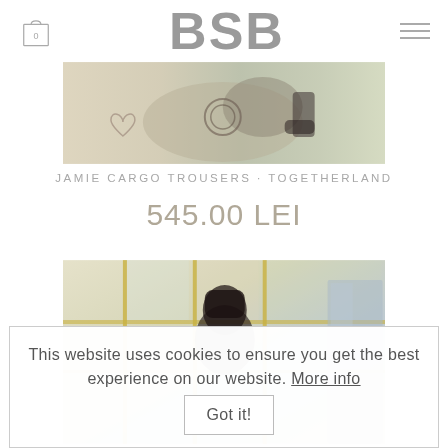BSB
[Figure (photo): Fashion product photo - top portion showing horse and model with boots, partially cropped]
JAMIE CARGO TROUSERS - TOGETHERLAND
545.00 LEI
[Figure (photo): Fashion product photo showing model in dark clothing standing in front of yellow-framed windows]
This website uses cookies to ensure you get the best experience on our website. More info Got it!